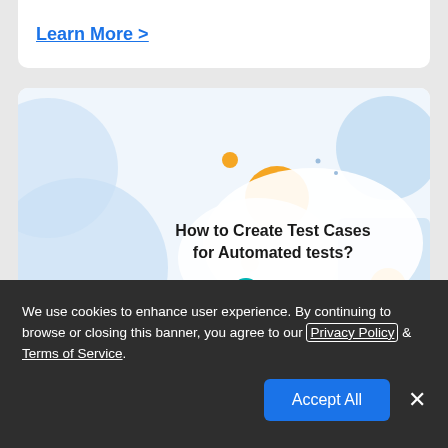Learn More >
[Figure (illustration): BrowserStack article thumbnail: decorative image with orange circles and blue blobs on white background, with bold text 'How to Create Test Cases for Automated tests?' and BrowserStack logo]
How to Create Test Cases for Automated
We use cookies to enhance user experience. By continuing to browse or closing this banner, you agree to our Privacy Policy & Terms of Service.
Accept All